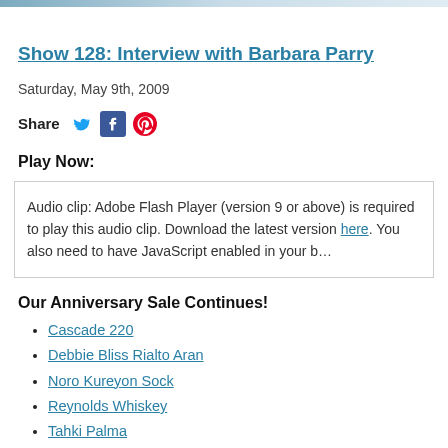Show 128: Interview with Barbara Parry
Saturday, May 9th, 2009
[Figure (infographic): Share row with Twitter, Facebook, and Pinterest icons]
Play Now:
Audio clip: Adobe Flash Player (version 9 or above) is required to play this audio clip. Download the latest version here. You also need to have JavaScript enabled in your browser.
Our Anniversary Sale Continues!
Cascade 220
Debbie Bliss Rialto Aran
Noro Kureyon Sock
Reynolds Whiskey
Tahki Palma
Tahki Sedona
Valley Yarns Lenox (through 5/17)
Berroco Closeout Colors